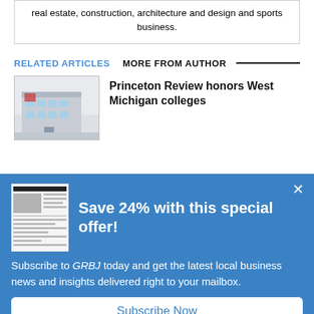real estate, construction, architecture and design and sports business.
RELATED ARTICLES  MORE FROM AUTHOR
Princeton Review honors West Michigan colleges
[Figure (photo): Thumbnail image of a building, likely a college campus building]
Save 24% with this special offer!
[Figure (photo): Thumbnail of a newspaper front page]
Subscribe to GRBJ today and get the latest local business news and insights delivered right to your mailbox.
Subscribe Now